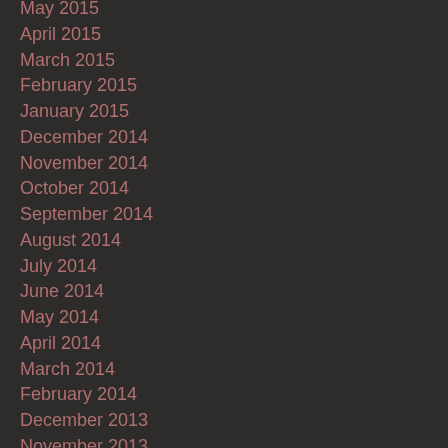May 2015
April 2015
March 2015
February 2015
January 2015
December 2014
November 2014
October 2014
September 2014
August 2014
July 2014
June 2014
May 2014
April 2014
March 2014
February 2014
December 2013
November 2013
October 2013
September 2013
August 2013